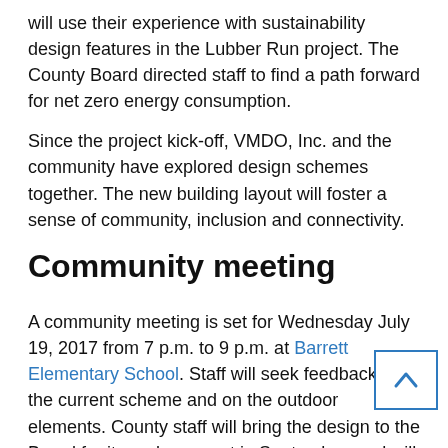will use their experience with sustainability design features in the Lubber Run project. The County Board directed staff to find a path forward for net zero energy consumption.
Since the project kick-off, VMDO, Inc. and the community have explored design schemes together. The new building layout will foster a sense of community, inclusion and connectivity.
Community meeting
A community meeting is set for Wednesday July 19, 2017 from 7 p.m. to 9 p.m. at Barrett Elementary School. Staff will seek feedback on the current scheme and on the outdoor elements. County staff will bring the design to the Board for its endorsement in September, and will provide updates on elements such as exterior and interior finish, any design changes as a result of the CMAR review., and update the Board on approaches to achieving net zero